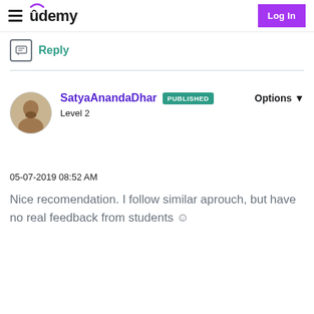Udemy — Log In
Reply
SatyaAnandaDhar PUBLISHED Level 2 Options
05-07-2019 08:52 AM
Nice recomendation. I follow similar aprouch, but have no real feedback from students ☺